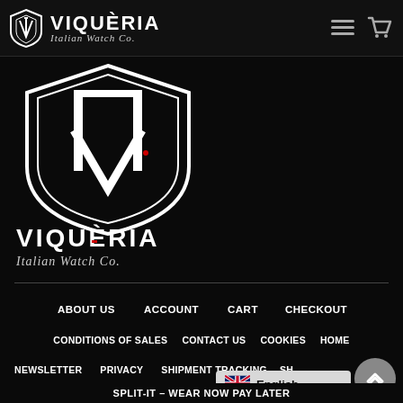VIQUERIA Italian Watch Co. — header with navigation icons
[Figure (logo): Viqueria Italian Watch Co. large shield logo with brand name and italic subtitle]
ABOUT US
ACCOUNT
CART
CHECKOUT
CONDITIONS OF SALES
CONTACT US
COOKIES
HOME
NEWSLETTER
PRIVACY
SHIPMENT TRACKING
SH...
SPLIT-IT – WEAR NOW PAY LATER
English